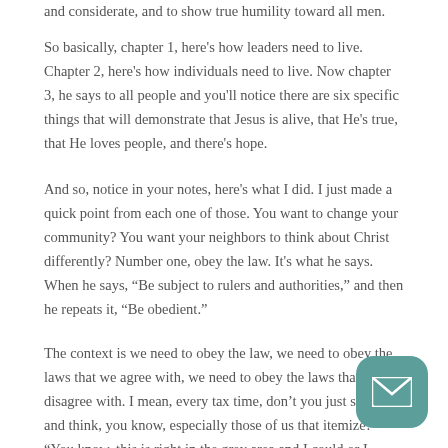and considerate, and to show true humility toward all men.
So basically, chapter 1, here's how leaders need to live. Chapter 2, here's how individuals need to live. Now chapter 3, he says to all people and you'll notice there are six specific things that will demonstrate that Jesus is alive, that He's true, that He loves people, and there's hope.
And so, notice in your notes, here's what I did. I just made a quick point from each one of those. You want to change your community? You want your neighbors to think about Christ differently? Number one, obey the law. It's what he says. When he says, “Be subject to rulers and authorities,” and then he repeats it, “Be obedient.”
The context is we need to obey the law, we need to obey the laws that we agree with, we need to obey the laws that we disagree with. I mean, every tax time, don’t you just sit down and think, you know, especially those of us that itemize? “You know, this is right in the grey area and I could or I couldn’t and, boy, they waste so much of my money and…”
And some of you that have businesses where you have to dec… whether you’re going to declare or that cash that you receive or…